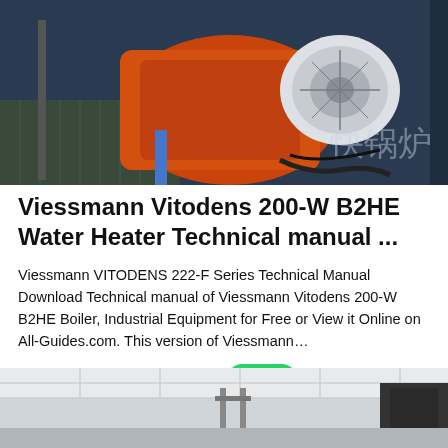[Figure (photo): Industrial boiler/burner unit — orange cylindrical burner with white fan/motor assembly, mounted on metal frame with grating; Chinese characters visible on right side of image]
Viessmann Vitodens 200-W B2HE Water Heater Technical manual ...
Viessmann VITODENS 222-F Series Technical Manual Download Technical manual of Viessmann Vitodens 200-W B2HE Boiler, Industrial Equipment for Free or View it Online on All-Guides.com. This version of Viessmann…
[Figure (logo): WhatsApp green rounded square icon with white phone handset]
[Figure (photo): Partial view of industrial equipment in a facility — ceiling tiles, metal pipes/rods visible, dark equipment on right]